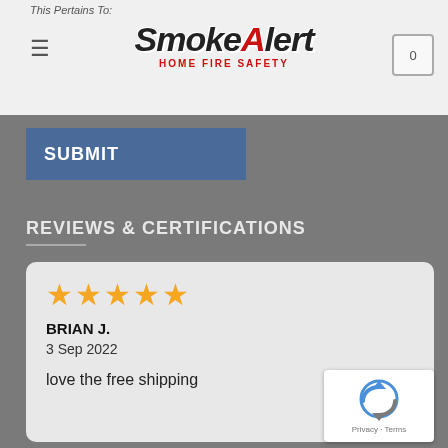This Pertains To:
[Figure (logo): SmokeAlert Home Fire Safety logo with hamburger menu and cart icon]
SUBMIT
REVIEWS & CERTIFICATIONS
★★★★★
BRIAN J.
3 Sep 2022
love the free shipping
[Figure (logo): reCAPTCHA badge with Privacy and Terms links]